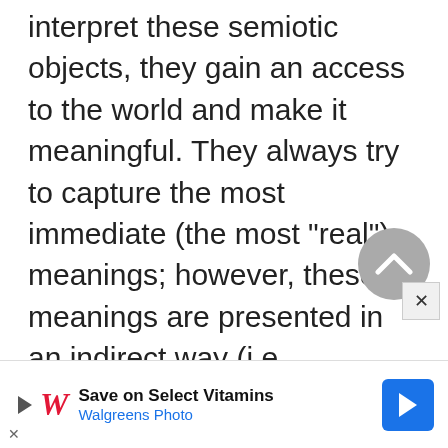interpret these semiotic objects, they gain an access to the world and make it meaningful. They always try to capture the most immediate (the most "real") meanings; however, these meanings are presented in an indirect way (i.e., mediated). Thus, signs as texts are forms of mediation; in this sense, different communication situations are characterized by different degrees of mediation (e.g., theatrical performance is less me...
[Figure (other): Grey circular scroll-to-top button with upward chevron arrow]
[Figure (other): Close (X) button overlay]
[Figure (other): Walgreens advertisement banner: 'Save on Select Vitamins / Walgreens Photo' with play icon, Walgreens W logo, and blue navigation arrow icon]